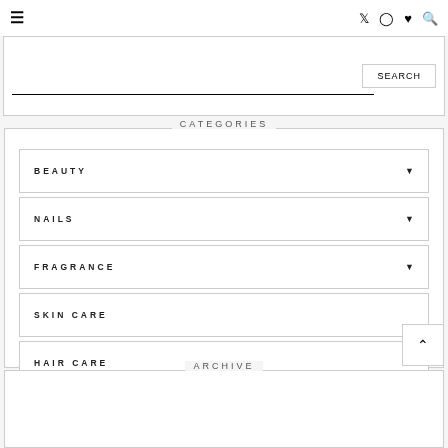☰  ✦ ♥ 🔍
[Figure (screenshot): Search input box with SEARCH button]
CATEGORIES
BEAUTY
NAILS
FRAGRANCE
SKIN CARE
HAIR CARE
ARCHIVE